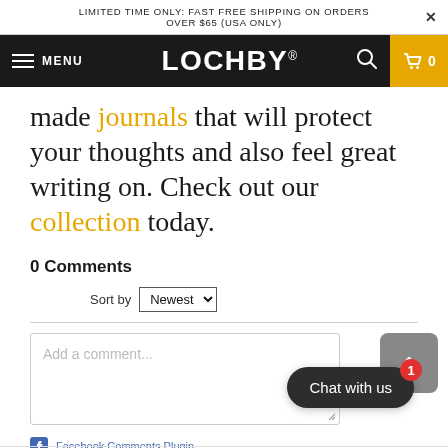LIMITED TIME ONLY: FAST FREE SHIPPING ON ORDERS OVER $65 (USA ONLY)
[Figure (screenshot): Lochby website navigation bar with hamburger menu, MENU text, LOCHBY logo, search icon, and shopping cart icon on dark background with yellow cart box]
made journals that will protect your thoughts and also feel great writing on. Check out our collection today.
0 Comments
Sort by Newest
Add a comment...
Facebook Comments Plugin